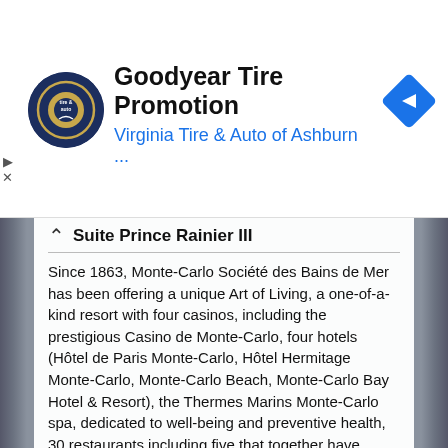[Figure (other): Advertisement banner for Goodyear Tire Promotion featuring Virginia Tire & Auto of Ashburn logo, ad title, subtitle, and navigation icon]
Suite Prince Rainier III
Since 1863, Monte-Carlo Société des Bains de Mer has been offering a unique Art of Living, a one-of-a-kind resort with four casinos, including the prestigious Casino de Monte-Carlo, four hotels (Hôtel de Paris Monte-Carlo, Hôtel Hermitage Monte-Carlo, Monte-Carlo Beach, Monte-Carlo Bay Hotel & Resort), the Thermes Marins Monte-Carlo spa, dedicated to well-being and preventive health, 30 restaurants including five that together have seven Michelin Guide stars.
A hub of night-life, the Group offers an incredible selection of events, including the Monte-Carlo Sporting Summer Festival and the Monte-Carlo Jazz Festival. At the end of 2018,